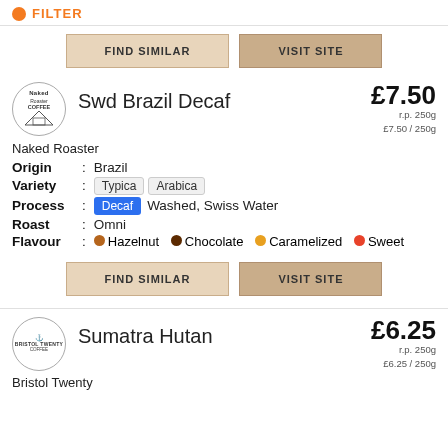[Figure (logo): Orange dot / partial logo at top left]
FIND SIMILAR   VISIT SITE
[Figure (logo): Naked Roaster Coffee circular logo]
Swd Brazil Decaf
£7.50
r.p. 250g
£7.50 / 250g
Naked Roaster
Origin : Brazil
Variety : Typica   Arabica
Process : Decaf   Washed, Swiss Water
Roast : Omni
Flavour : Hazelnut  Chocolate  Caramelized  Sweet
FIND SIMILAR   VISIT SITE
[Figure (logo): Bristol Twenty circular logo with anchor]
Sumatra Hutan
£6.25
r.p. 250g
£6.25 / 250g
Bristol Twenty